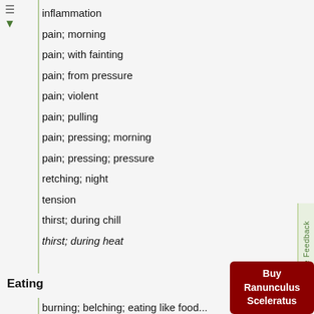inflammation
pain; morning
pain; with fainting
pain; from pressure
pain; violent
pain; pulling
pain; pressing; morning
pain; pressing; pressure
retching; night
tension
thirst; during chill
thirst; during heat
Eating
Buy Ranunculus Sceleratus